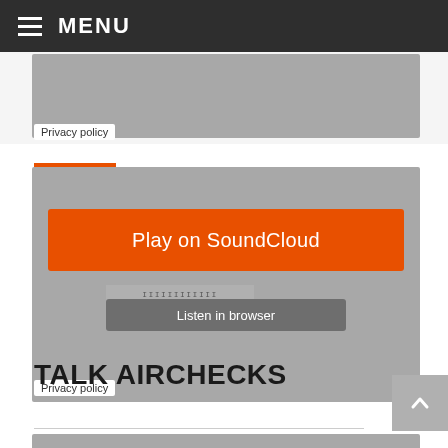MENU
[Figure (screenshot): Partial SoundCloud embed player widget with gray background at top]
Privacy policy
[Figure (screenshot): SoundCloud embedded player with orange Play on SoundCloud button and Listen in browser option]
Play on SoundCloud
Listen in browser
Privacy policy
TALK AIRCHECKS
[Figure (screenshot): Partial gray media player block at bottom of page]